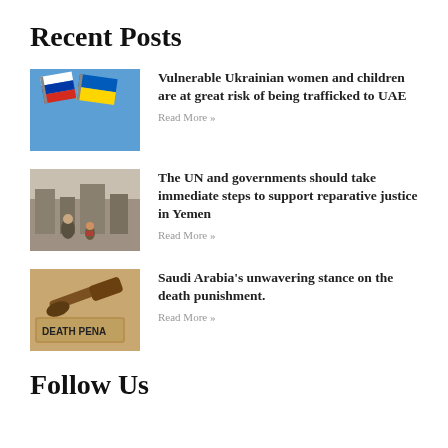Recent Posts
[Figure (photo): Image of Ukrainian and Russian flags against a blue sky]
Vulnerable Ukrainian women and children are at great risk of being trafficked to UAE
Read More »
[Figure (photo): Image of people amid rubble in a conflict zone, possibly Yemen]
The UN and governments should take immediate steps to support reparative justice in Yemen
Read More »
[Figure (photo): Image of a gavel and a sign reading DEATH PENALTY]
Saudi Arabia's unwavering stance on the death punishment.
Read More »
Follow Us